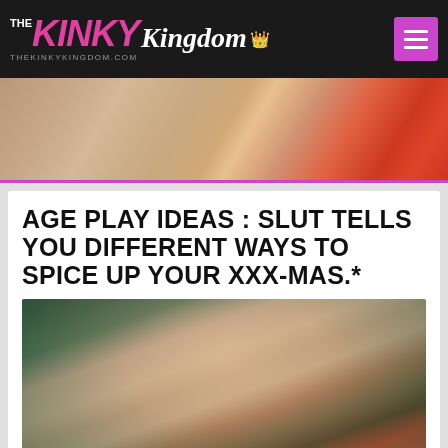[Figure (logo): The Kinky Kingdom logo with pink and white stylized text on black background, with crown icon and URL thekinkykingdom.com, plus purple hamburger menu button]
[Figure (photo): Close-up photo of a person in red lingerie with hands visible, cropped torso shot]
AGE PLAY IDEAS : SLUT TELLS YOU DIFFERENT WAYS TO SPICE UP YOUR XXX-MAS.*
[Figure (photo): Photo of a smiling brunette woman in a red top standing in front of a clothing rack with various garments]